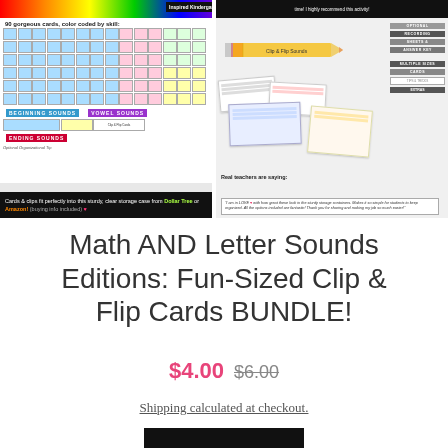[Figure (photo): Product image of clip and flip cards showing 90 color-coded cards with beginning sounds, vowel sounds, ending sounds grids, plus black banner advertising Dollar Tree or Amazon storage case]
[Figure (photo): Product image showing letter sounds clip and flip cards scattered with pencil, storage containers, and real teacher testimonial quote]
Math AND Letter Sounds Editions: Fun-Sized Clip & Flip Cards BUNDLE!
$4.00  $6.00
Shipping calculated at checkout.